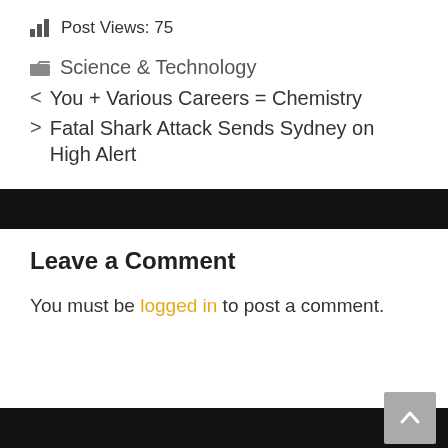Post Views: 75
Science & Technology
< You + Various Careers = Chemistry
> Fatal Shark Attack Sends Sydney on High Alert
Leave a Comment
You must be logged in to post a comment.